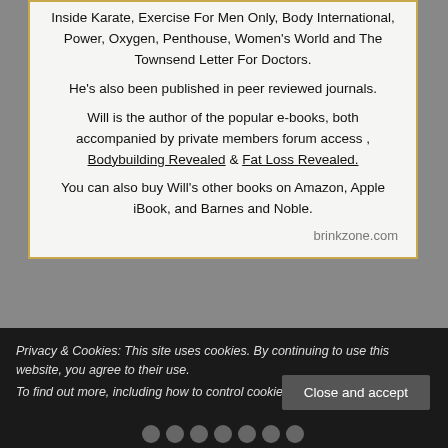Inside Karate, Exercise For Men Only, Body International, Power, Oxygen, Penthouse, Women's World and The Townsend Letter For Doctors.
He's also been published in peer reviewed journals.
Will is the author of the popular e-books, both accompanied by private members forum access , Bodybuilding Revealed & Fat Loss Revealed.
You can also buy Will's other books on Amazon, Apple iBook, and Barnes and Noble.
brinkzone.com
Privacy & Cookies: This site uses cookies. By continuing to use this website, you agree to their use. To find out more, including how to control cookies, see here: Cookie Policy
Close and accept